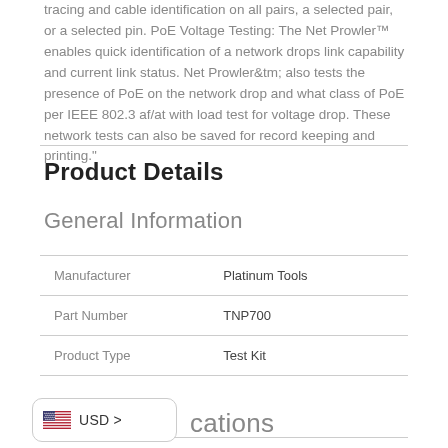tracing and cable identification on all pairs, a selected pair, or a selected pin. PoE Voltage Testing: The Net Prowler™ enables quick identification of a network drops link capability and current link status. Net Prowler&tm; also tests the presence of PoE on the network drop and what class of PoE per IEEE 802.3 af/at with load test for voltage drop. These network tests can also be saved for record keeping and printing."
Product Details
General Information
|  |  |
| --- | --- |
| Manufacturer | Platinum Tools |
| Part Number | TNP700 |
| Product Type | Test Kit |
[Figure (other): Currency selector badge showing US flag and USD > label]
cations